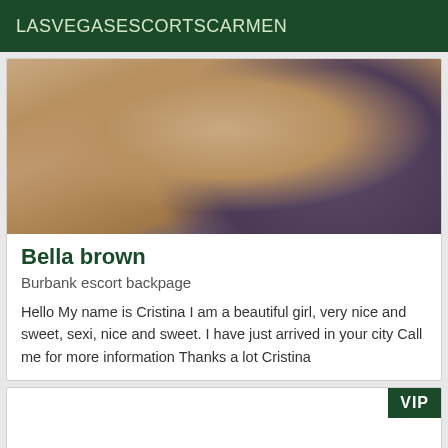LASVEGASESCORTSCARMEN
[Figure (photo): Close-up photo showing a person's back and shoulders wearing a dark floral bra/bikini top]
Bella brown
Burbank escort backpage
Hello My name is Cristina I am a beautiful girl, very nice and sweet, sexi, nice and sweet. I have just arrived in your city Call me for more information Thanks a lot Cristina
[Figure (other): Second listing card with VIP badge in top right corner]